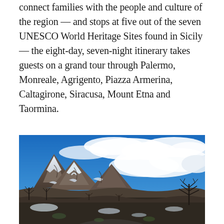connect families with the people and culture of the region — and stops at five out of the seven UNESCO World Heritage Sites found in Sicily — the eight-day, seven-night itinerary takes guests on a grand tour through Palermo, Monreale, Agrigento, Piazza Armerina, Caltagirone, Siracusa, Mount Etna and Taormina.
[Figure (photo): Landscape photograph of Mount Etna with snow-capped volcanic peaks under a vivid blue sky with white clouds. Bare winter trees and shrubs in the foreground, rocky volcanic terrain visible on the mountain slopes.]